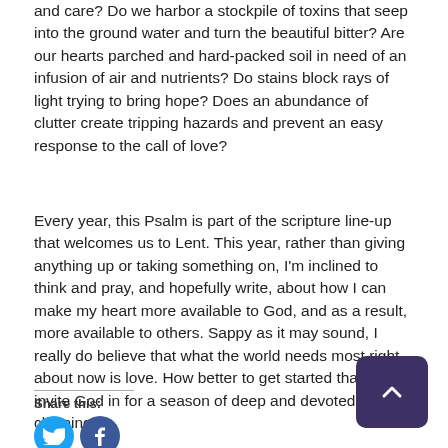and care? Do we harbor a stockpile of toxins that seep into the ground water and turn the beautiful bitter? Are our hearts parched and hard-packed soil in need of an infusion of air and nutrients? Do stains block rays of light trying to bring hope? Does an abundance of clutter create tripping hazards and prevent an easy response to the call of love?
Every year, this Psalm is part of the scripture line-up that welcomes us to Lent. This year, rather than giving anything up or taking something on, I'm inclined to think and pray, and hopefully write, about how I can make my heart more available to God, and as a result, more available to others. Sappy as it may sound, I really do believe that what the world needs most right about now is love. How better to get started than to invite God in for a season of deep and devoted heart cleaning?
Share this: